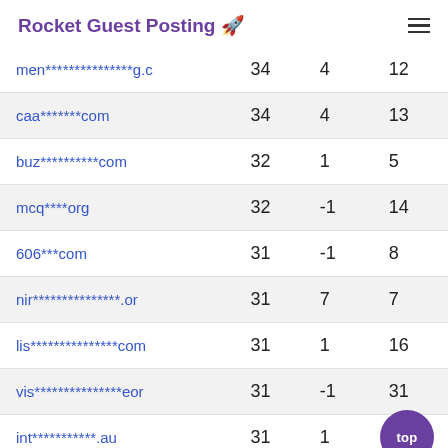Rocket Guest Posting 🚀
| Domain | Col1 | Col2 | Col3 |
| --- | --- | --- | --- |
| men***************g.c | 34 | 4 | 12 |
| caa*******com | 34 | 4 | 13 |
| buz**********com | 32 | 1 | 5 |
| mcq****org | 32 | -1 | 14 |
| 606***com | 31 | -1 | 8 |
| nir***************.or | 31 | 7 | 7 |
| lis***************com | 31 | 1 | 16 |
| vis***************eor | 31 | -1 | 31 |
| int***********.au | 31 | 1 | 10 |
| hea***********.com | 30 | 3 | 5 |